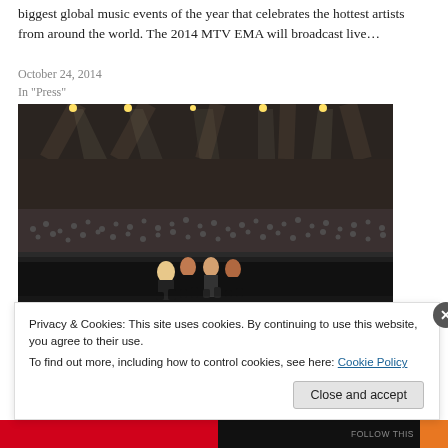biggest global music events of the year that celebrates the hottest artists from around the world. The 2014 MTV EMA will broadcast live…
October 24, 2014
In "Press"
[Figure (photo): Concert photo showing performers on stage in front of a large crowd in a dark arena with dramatic overhead stage lighting. Several artists are crouched/seated at the front of the stage with an audience filling the background.]
Privacy & Cookies: This site uses cookies. By continuing to use this website, you agree to their use.
To find out more, including how to control cookies, see here: Cookie Policy
Close and accept